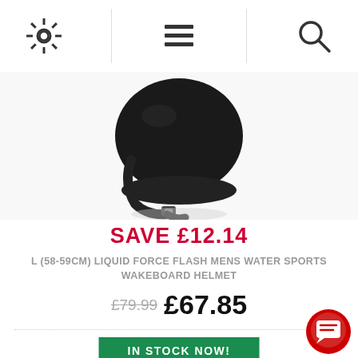Navigation bar with settings, menu, and search icons
[Figure (photo): Black wakeboard helmet with chin strap and buckle, viewed from below/side angle on white background]
SAVE £12.14
L (58-59CM) LIQUID FORCE FLASH MENS WATER SPORTS WAKEBOARD HELMET
£79.99  £67.85
IN STOCK NOW!